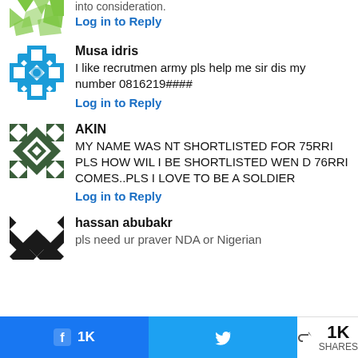[Figure (illustration): Green abstract avatar icon (partial, cropped at top)]
into consideration.
Log in to Reply
[Figure (illustration): Blue geometric cross/snowflake pattern avatar]
Musa idris
I like recrutmen army pls help me sir dis my number 0816219####
Log in to Reply
[Figure (illustration): Dark green/white geometric diamond pattern avatar]
AKIN
MY NAME WAS NT SHORTLISTED FOR 75RRI PLS HOW WIL I BE SHORTLISTED WEN D 76RRI COMES..PLS I LOVE TO BE A SOLDIER
Log in to Reply
[Figure (illustration): Black and white geometric triangle pattern avatar]
hassan abubakr
pls need ur praver NDA or Nigerian
1K
1K SHARES